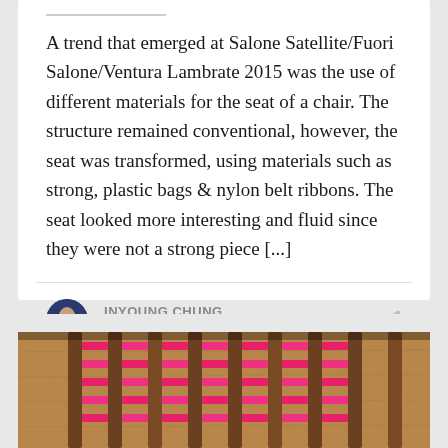A trend that emerged at Salone Satellite/Fuori Salone/Ventura Lambrate 2015 was the use of different materials for the seat of a chair. The structure remained conventional, however, the seat was transformed, using materials such as strong, plastic bags & nylon belt ribbons. The seat looked more interesting and fluid since they were not a strong piece [...]
INYOUNG CHUNG
Art Director
[Figure (photo): Photo of a chair with pink/magenta woven seat and wooden vertical slats/back, viewed from above at an angle on a wooden surface]